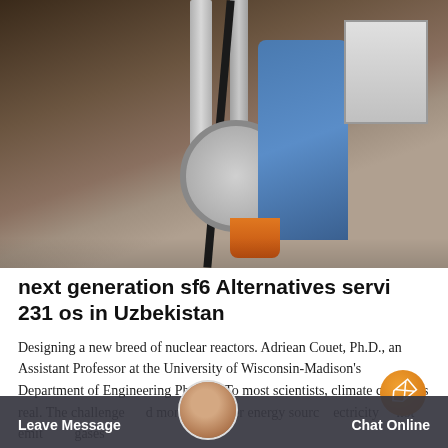[Figure (photo): Industrial machinery interior with metal pipes/columns, a large circular disk component, a person in a blue suit/covering, cables, and storage equipment in the background.]
next generation sf6 Alternatives servi 231 os in Uzbekistan
Designing a new breed of nuclear reactors. Adriean Couet, Ph.D., an Assistant Professor at the University of Wisconsin-Madison's Department of Engineering Physics. To most scientists, climate change is real. The challenge: find more and better energy sources that generate electricity but do not emit greenhouse gases into the atmosphere.